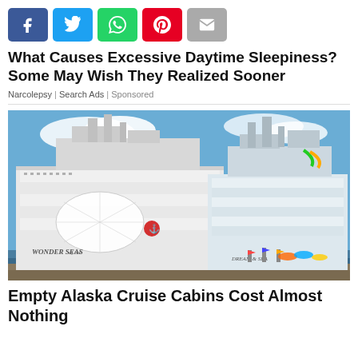[Figure (other): Row of social media share buttons: Facebook (blue), Twitter (light blue), WhatsApp (green), Pinterest (red), Email (gray)]
What Causes Excessive Daytime Sleepiness? Some May Wish They Realized Sooner
Narcolepsy | Search Ads | Sponsored
[Figure (photo): Two large cruise ships docked side by side. The left ship reads 'Wonder of the Seas' with a distinctive dome structure. Blue sky with clouds in background.]
Empty Alaska Cruise Cabins Cost Almost Nothing